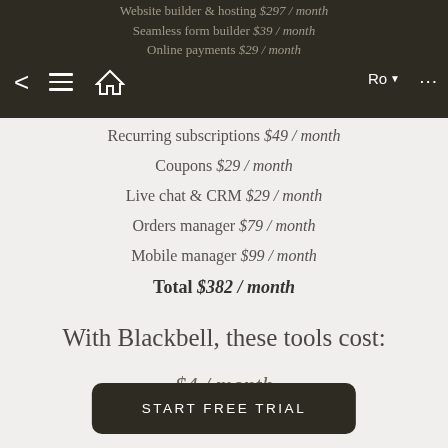Website builder & hosting $297/month
Seamless form builder $39/month
Online payments $29/month
Recurring subscriptions $49/month
Coupons $29/month
Live chat & CRM $29/month
Orders manager $79/month
Mobile manager $99/month
Total $382/month
With Blackbell, these tools cost:
$4/month
START FREE TRIAL